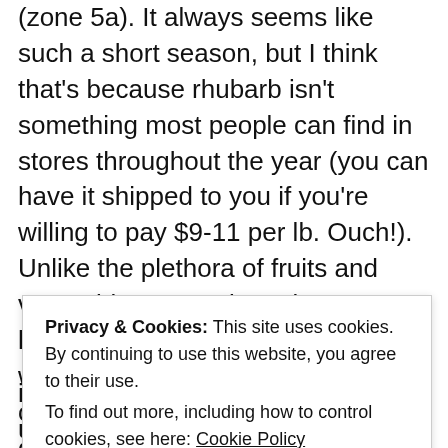(zone 5a). It always seems like such a short season, but I think that's because rhubarb isn't something most people can find in stores throughout the year (you can have it shipped to you if you're willing to pay $9-11 per lb. Ouch!). Unlike the plethora of fruits and vegetables grown in various locations and shipped around the world, it's difficult to find rhubarb outside of the one month that it grows, and that's primarily because it's a cold-climate perennial. In a way, rhubarb's extreme seasonality makes it extra special when the time comes
Privacy & Cookies: This site uses cookies. By continuing to use this website, you agree to their use.
To find out more, including how to control cookies, see here: Cookie Policy
Close and accept
in a terminal role keeping the ends unimpeded, and